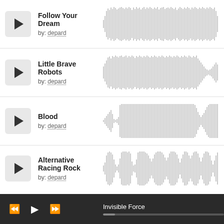Follow Your Dream by: depard
[Figure (other): Audio waveform for Follow Your Dream]
Little Brave Robots by: depard
[Figure (other): Audio waveform for Little Brave Robots]
Blood by: depard
[Figure (other): Audio waveform for Blood]
Alternative Racing Rock by: depard
[Figure (other): Audio waveform for Alternative Racing Rock]
Invisible Force — player controls bar